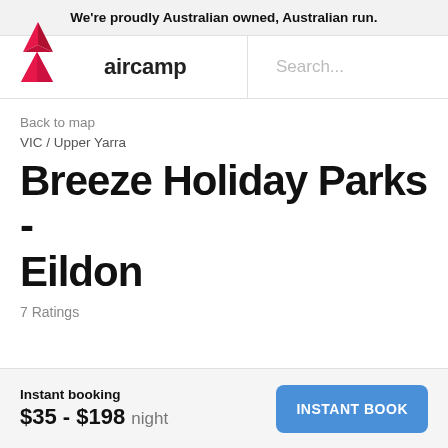We're proudly Australian owned, Australian run.
[Figure (logo): Aircamp logo: pink/red triangle tent icon with 'aircamp' text in bold dark sans-serif]
Search...
Back to map
VIC / Upper Yarra
Breeze Holiday Parks - Eildon
7 Ratings
Instant booking
$35 - $198 night
INSTANT BOOK